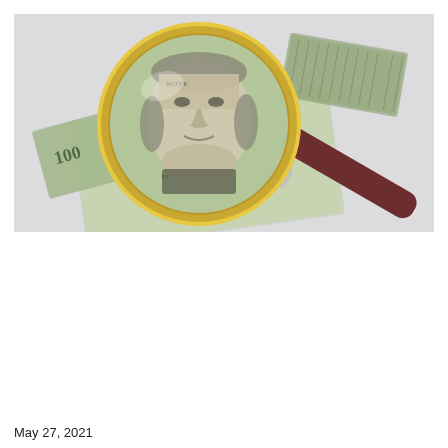[Figure (photo): A $100 US dollar bill being examined under a gold-rimmed magnifying glass with a dark wooden handle, on a light grey background. Benjamin Franklin's portrait is visible through the magnifying lens.]
May 27, 2021